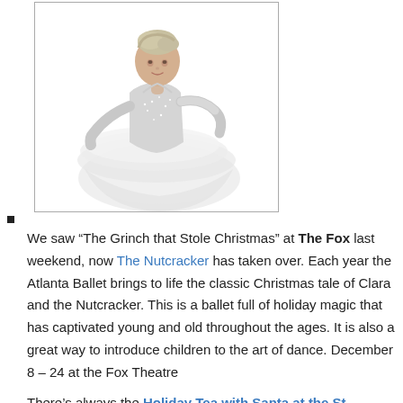[Figure (photo): Ballet dancer in white costume (Sugar Plum Fairy / Nutcracker) posed gracefully, shown from upper body, with elaborate white tutu and sparkling bodice, light blonde upswept hair]
We saw “The Grinch that Stole Christmas” at The Fox last weekend, now The Nutcracker has taken over. Each year the Atlanta Ballet brings to life the classic Christmas tale of Clara and the Nutcracker. This is a ballet full of holiday magic that has captivated young and old throughout the ages. It is also a great way to introduce children to the art of dance. December 8 – 24 at the Fox Theatre
There’s always the Holiday Tea with Santa at the St